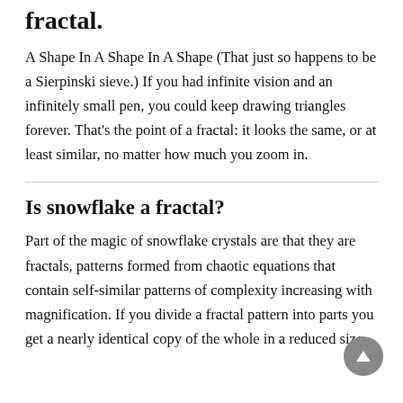fractal.
A Shape In A Shape In A Shape (That just so happens to be a Sierpinski sieve.) If you had infinite vision and an infinitely small pen, you could keep drawing triangles forever. That's the point of a fractal: it looks the same, or at least similar, no matter how much you zoom in.
Is snowflake a fractal?
Part of the magic of snowflake crystals are that they are fractals, patterns formed from chaotic equations that contain self-similar patterns of complexity increasing with magnification. If you divide a fractal pattern into parts you get a nearly identical copy of the whole in a reduced size.